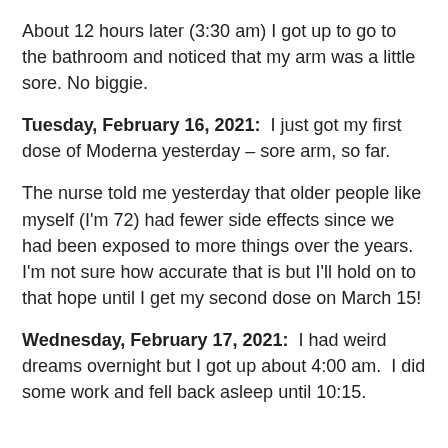About 12 hours later (3:30 am) I got up to go to the bathroom and noticed that my arm was a little sore. No biggie.
Tuesday, February 16, 2021:  I just got my first dose of Moderna yesterday – sore arm, so far.
The nurse told me yesterday that older people like myself (I'm 72) had fewer side effects since we had been exposed to more things over the years.  I'm not sure how accurate that is but I'll hold on to that hope until I get my second dose on March 15!
Wednesday, February 17, 2021:  I had weird dreams overnight but I got up about 4:00 am.  I did some work and fell back asleep until 10:15.